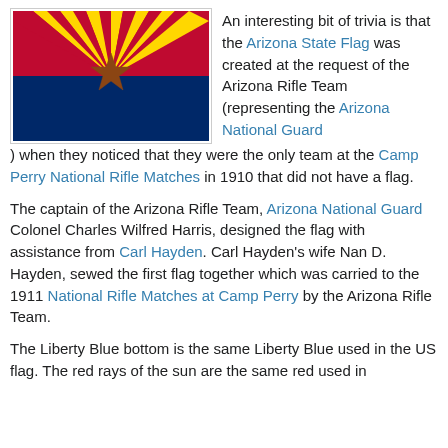[Figure (illustration): Arizona State Flag — blue bottom half, red and yellow sun rays on top half, copper star in center]
An interesting bit of trivia is that the Arizona State Flag was created at the request of the Arizona Rifle Team (representing the Arizona National Guard) when they noticed that they were the only team at the Camp Perry National Rifle Matches in 1910 that did not have a flag.
The captain of the Arizona Rifle Team, Arizona National Guard Colonel Charles Wilfred Harris, designed the flag with assistance from Carl Hayden. Carl Hayden's wife Nan D. Hayden, sewed the first flag together which was carried to the 1911 National Rifle Matches at Camp Perry by the Arizona Rifle Team.
The Liberty Blue bottom is the same Liberty Blue used in the US flag. The red rays of the sun are the same red used in